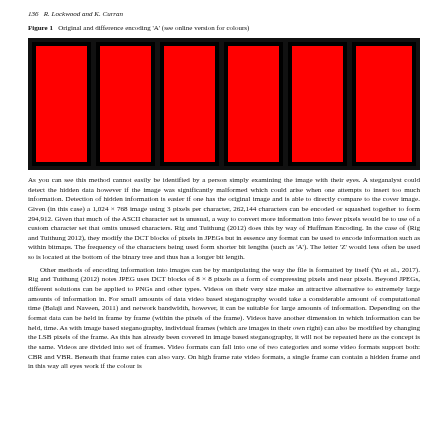136   R. Lockwood and K. Curran
Figure 1   Original and difference encoding 'A' (see online version for colours)
[Figure (illustration): Six rectangular panels each containing a large red rectangle on a black background, representing original and difference encoding of character 'A']
As you can see this method cannot easily be identified by a person simply examining the image with their eyes. A steganalyst could detect the hidden data however if the image was significantly malformed which could arise when one attempts to insert too much information. Detection of hidden information is easier if one has the original image and is able to directly compare to the cover image. Given (in this case) a 1,024 × 768 image using 3 pixels per character, 262,144 characters can be encoded or squashed together to form 294,912. Given that much of the ASCII character set is unusual, a way to convert more information into fewer pixels would be to use of a custom character set that omits unused characters. Rig and Tuithung (2012) does this by way of Huffman Encoding. In the case of (Rig and Tuithung 2012), they modify the DCT blocks of pixels in JPEGs but in essence any format can be used to encode information such as within bitmaps. The frequency of the characters being used form shorter bit lengths (such as 'A'). The letter 'Z' would less often be used so is located at the bottom of the binary tree and thus has a longer bit length.
Other methods of encoding information into images can be by manipulating the way the file is formatted by itself (Yu et al., 2017). Rig and Tuithung (2012) notes JPEG uses DCT blocks of 8 × 8 pixels as a form of compressing pixels and near pixels. Beyond JPEGs, different solutions can be applied to PNGs and other types. Videos on their very size make an attractive alternative to extremely large amounts of information in. For small amounts of data video based steganography would take a considerable amount of computational time (Balaji and Naveen, 2011) and network bandwidth, however, it can be suitable for large amounts of information. Depending on the format data can be held in frame by frame (within the pixels of the frame). Videos have another dimension in which information can be held, time. As with image based steganography, individual frames (which are images in their own right) can also be modified by changing the LSB pixels of the frame. As this has already been covered in image based steganography, it will not be repeated here as the concept is the same. Videos are divided into set of frames. Video formats can fall into one of two categories and some video formats support both: CBR and VBR. Beneath that frame rates can also vary. On high frame rate video formats, a single frame can contain a hidden frame and in this way all eyes work if the colour is